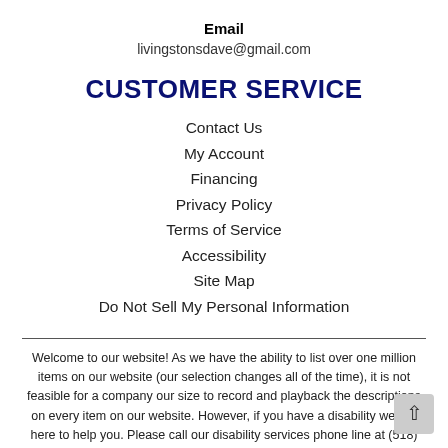Email
livingstonsdave@gmail.com
CUSTOMER SERVICE
Contact Us
My Account
Financing
Privacy Policy
Terms of Service
Accessibility
Site Map
Do Not Sell My Personal Information
Welcome to our website! As we have the ability to list over one million items on our website (our selection changes all of the time), it is not feasible for a company our size to record and playback the descriptions on every item on our website. However, if you have a disability we are here to help you. Please call our disability services phone line at (518) 725-8317 during regular business hours and one of our kind and friendly personal shoppers will help you navigate through our website, help conduct advanced